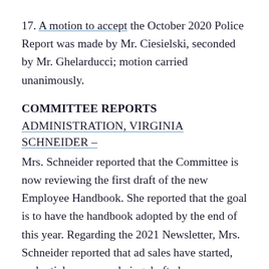17. A motion to accept the October 2020 Police Report was made by Mr. Ciesielski, seconded by Mr. Ghelarducci; motion carried unanimously.
COMMITTEE REPORTS
ADMINISTRATION, VIRGINIA SCHNEIDER –
Mrs. Schneider reported that the Committee is now reviewing the first draft of the new Employee Handbook. She reported that the goal is to have the handbook adopted by the end of this year. Regarding the 2021 Newsletter, Mrs. Schneider reported that ad sales have started, and articles are now being drafted.
She stated that the quarterly update mini